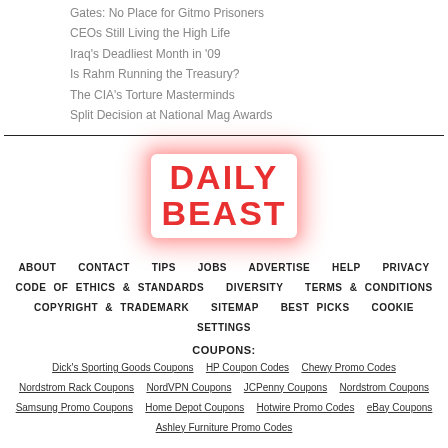Gates: No Place for Gitmo Prisoners
CEOs Still Living the High Life
Iraq's Deadliest Month in '09
Is Rahm Running the Treasury?
The CIA's Torture Masterminds
Split Decision at National Mag Awards
[Figure (logo): Daily Beast logo in red bold text with red glow effect]
ABOUT  CONTACT  TIPS  JOBS  ADVERTISE  HELP  PRIVACY  CODE OF ETHICS & STANDARDS  DIVERSITY  TERMS & CONDITIONS  COPYRIGHT & TRADEMARK  SITEMAP  BEST PICKS  COOKIE SETTINGS
COUPONS:
Dick's Sporting Goods Coupons  HP Coupon Codes  Chewy Promo Codes  Nordstrom Rack Coupons  NordVPN Coupons  JCPenny Coupons  Nordstrom Coupons  Samsung Promo Coupons  Home Depot Coupons  Hotwire Promo Codes  eBay Coupons  Ashley Furniture Promo Codes